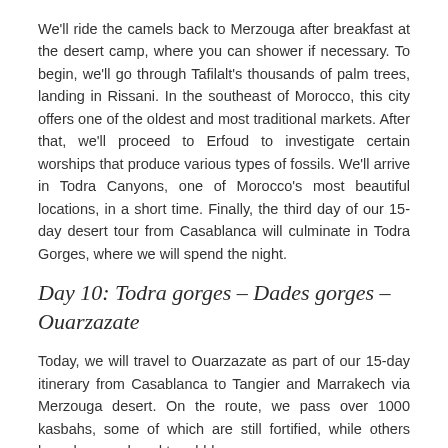We'll ride the camels back to Merzouga after breakfast at the desert camp, where you can shower if necessary. To begin, we'll go through Tafilalt's thousands of palm trees, landing in Rissani. In the southeast of Morocco, this city offers one of the oldest and most traditional markets. After that, we'll proceed to Erfoud to investigate certain worships that produce various types of fossils. We'll arrive in Todra Canyons, one of Morocco's most beautiful locations, in a short time. Finally, the third day of our 15-day desert tour from Casablanca will culminate in Todra Gorges, where we will spend the night.
Day 10: Todra gorges – Dades gorges – Ouarzazate
Today, we will travel to Ouarzazate as part of our 15-day itinerary from Casablanca to Tangier and Marrakech via Merzouga desert. On the route, we pass over 1000 kasbahs, some of which are still fortified, while others have been reduced to rubble.